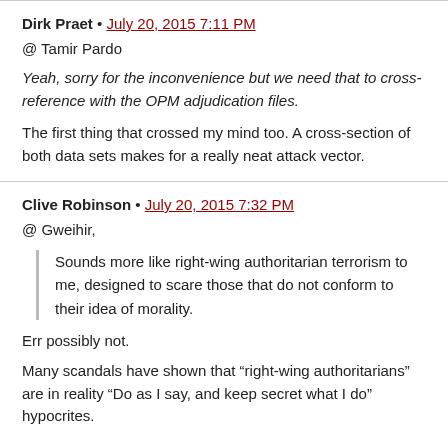Dirk Praet • July 20, 2015 7:11 PM
@ Tamir Pardo
Yeah, sorry for the inconvenience but we need that to cross-reference with the OPM adjudication files.
The first thing that crossed my mind too. A cross-section of both data sets makes for a really neat attack vector.
Clive Robinson • July 20, 2015 7:32 PM
@ Gweihir,
Sounds more like right-wing authoritarian terrorism to me, designed to scare those that do not conform to their idea of morality.
Err possibly not.
Many scandals have shown that “right-wing authoritarians” are in reality “Do as I say, and keep secret what I do” hypocrites.